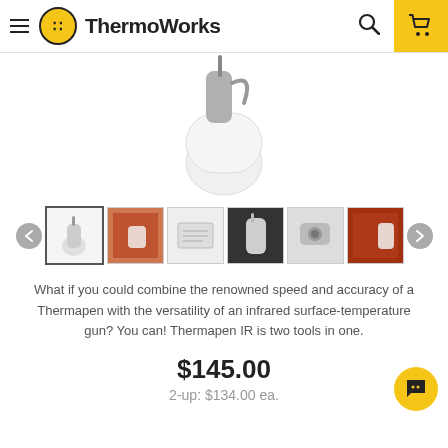[Figure (screenshot): ThermoWorks website header with hamburger menu, ThermoWorks logo and brand name, search icon, and yellow cart button]
[Figure (photo): Close-up of a white ThermoWorks Thermapen IR probe thermometer with a folded probe against white background]
[Figure (photo): Carousel of six product thumbnail images showing the Thermapen IR from different angles and uses]
What if you could combine the renowned speed and accuracy of a Thermapen with the versatility of an infrared surface-temperature gun? You can! Thermapen IR is two tools in one.
$145.00
2-up: $134.00 ea.